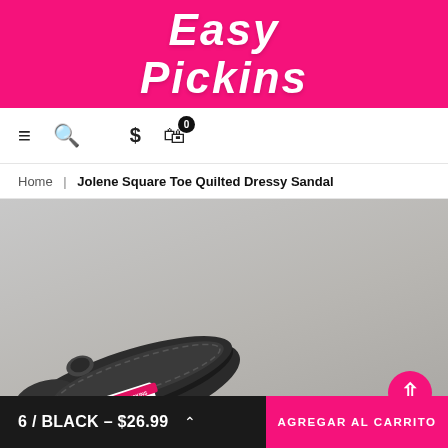Easy Pickins
≡  🔍  $  🛍 0
Home | Jolene Square Toe Quilted Dressy Sandal
[Figure (photo): Close-up photo of bottom sole of a black dressy sandal with a sticker label, on a grey background]
6 / BLACK – $26.99  ∧  AGREGAR AL CARRITO